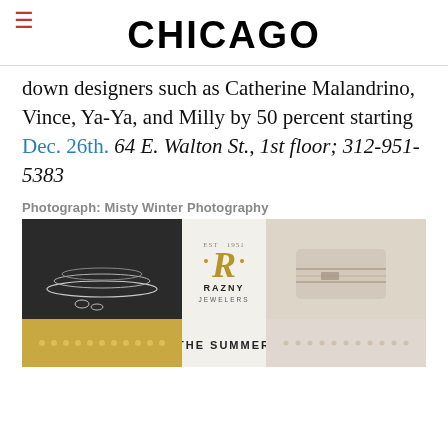CHICAGO
down designers such as Catherine Malandrino, Vince, Ya-Ya, and Milly by 50 percent starting Dec. 26th. 64 E. Walton St., 1st floor; 312-951-5383
Photograph: Misty Winter Photography
[Figure (photo): Advertisement for Razny Jewelers featuring jewelry photos and logo with 'THE SUMMER' text. Shows necklaces on left, Razny Jewelers logo (EST. 1951) in center, bracelets on right, and gold chain details at bottom.]